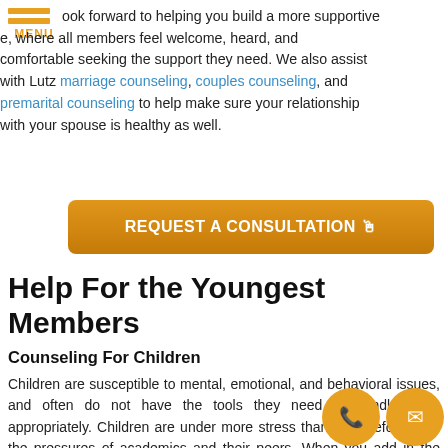MENU
ook forward to helping you build a more supportive e, where all members feel welcome, heard, and comfortable seeking the support they need. We also assist with Lutz marriage counseling, couples counseling, and premarital counseling to help make sure your relationship with your spouse is healthy as well.
[Figure (other): Orange button labeled REQUEST A CONSULTATION with a pointing hand cursor icon]
Help For the Youngest Members
Counseling For Children
Children are susceptible to mental, emotional, and behavioral issues, and often do not have the tools they need to handle them appropriately. Children are under more stress than ever before, with the pressures of academics and their peers. When you add in the constant
[Figure (other): Two circular orange icons: a phone icon and an email/envelope icon, overlaid on the bottom right of the text]